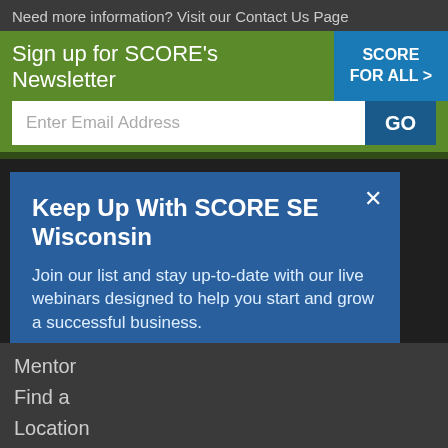Need more information? Visit our Contact Us Page
Sign up for SCORE's Newsletter
SCORE FOR ALL >
Enter Email Address
GO
Find a
Keep Up With SCORE SE Wisconsin
Join our list and stay up-to-date with our live webinars designed to help you start and grow a successful business.
email address
SUBMIT
Mentor
Find a
Location